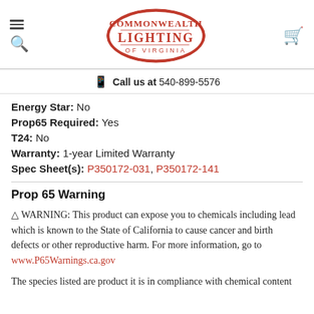[Figure (logo): Commonwealth Lighting of Virginia logo — red oval badge with cursive/serif text]
Call us at 540-899-5576
Energy Star: No
Prop65 Required: Yes
T24: No
Warranty: 1-year Limited Warranty
Spec Sheet(s): P350172-031, P350172-141
Prop 65 Warning
⚠ WARNING: This product can expose you to chemicals including lead which is known to the State of California to cause cancer and birth defects or other reproductive harm. For more information, go to www.P65Warnings.ca.gov
The species listed are product it is in compliance with chemical content